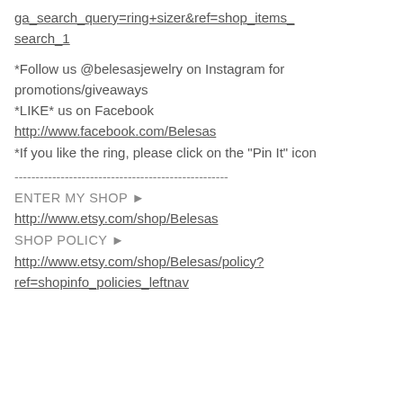ga_search_query=ring+sizer&ref=shop_items_search_1
*Follow us @belesasjewelry on Instagram for promotions/giveaways
*LIKE* us on Facebook
http://www.facebook.com/Belesas
*If you like the ring, please click on the "Pin It" icon
---------------------------------------------------
ENTER MY SHOP ►
http://www.etsy.com/shop/Belesas
SHOP POLICY ►
http://www.etsy.com/shop/Belesas/policy?ref=shopinfo_policies_leftnav